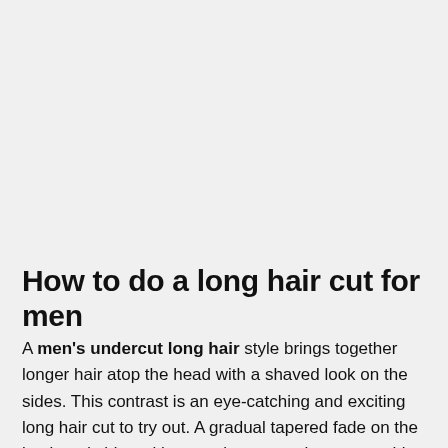[Figure (photo): Large image area at the top of the page (content not visible, shown as light gray background)]
How to do a long hair cut for men
A men's undercut long hair style brings together longer hair atop the head with a shaved look on the sides. This contrast is an eye-catching and exciting long hair cut to try out. A gradual tapered fade on the back and sides with your trimmer are how to get this